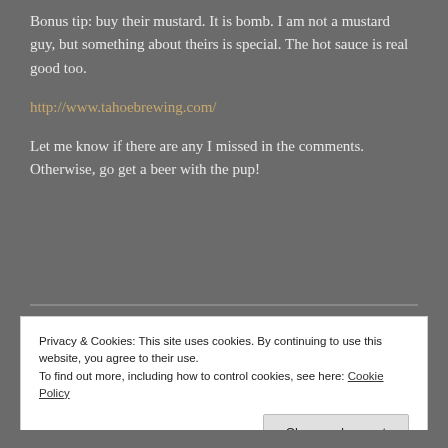Bonus tip: buy their mustard. It is bomb. I am not a mustard guy, but something about theirs is special.  The hot sauce is real good too.
http://www.tahoebrewing.com/
Let me know if there are any I missed in the comments. Otherwise, go get a beer with the pup!
Privacy & Cookies: This site uses cookies. By continuing to use this website, you agree to their use.
To find out more, including how to control cookies, see here: Cookie Policy
Close and accept